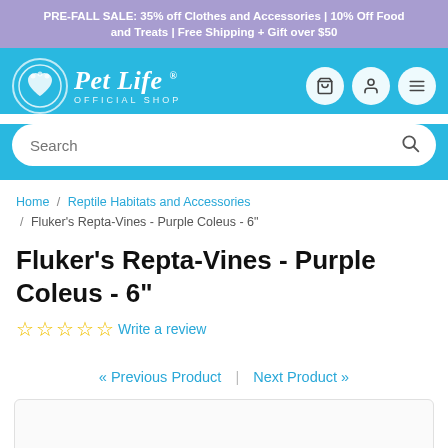PRE-FALL SALE: 35% off Clothes and Accessories | 10% Off Food and Treats | Free Shipping + Gift over $50
[Figure (logo): Pet Life Official Shop logo with paw print circle icon and italic serif text on blue background]
Search
Home / Reptile Habitats and Accessories / Fluker's Repta-Vines - Purple Coleus - 6"
Fluker's Repta-Vines - Purple Coleus - 6"
☆ ☆ ☆ ☆ ☆ Write a review
« Previous Product | Next Product »